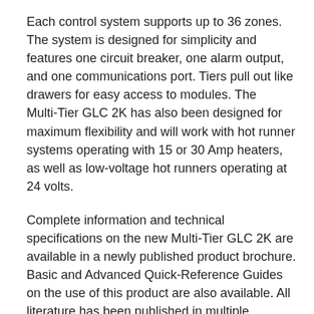Each control system supports up to 36 zones. The system is designed for simplicity and features one circuit breaker, one alarm output, and one communications port. Tiers pull out like drawers for easy access to modules. The Multi-Tier GLC 2K has also been designed for maximum flexibility and will work with hot runner systems operating with 15 or 30 Amp heaters, as well as low-voltage hot runners operating at 24 volts.
Complete information and technical specifications on the new Multi-Tier GLC 2K are available in a newly published product brochure. Basic and Advanced Quick-Reference Guides on the use of this product are also available. All literature has been published in multiple languages including English, German, French, Italian, and Spanish.
Based in Sterling, Va. U.S.A., Gammaflux L.P. is a leading supplier of hot runner temperature control systems to the plastics injection molding industry. Long known for innovation in control technology, Gammaflux developed the first products to anticipate temperature changes, sense